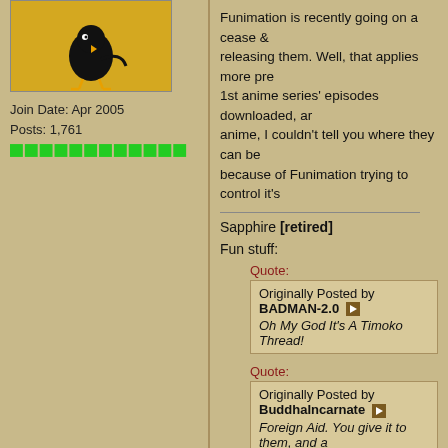[Figure (illustration): Anime character avatar image with a bird-like figure on yellow/gold background]
Join Date: Apr 2005
Posts: 1,761
[Figure (other): Green reputation bar blocks (12 green squares)]
Funimation is recently going on a cease & releasing them. Well, that applies more pre 1st anime series' episodes downloaded, ar anime, I couldn't tell you where they can be because of Funimation trying to control it's
Sapphire [retired]
Fun stuff:
Quote:
Originally Posted by BADMAN-2.0
Oh My God It's A Timoko Thread!
Quote:
Originally Posted by BuddhaIncarnate
Foreign Aid. You give it to them, and a
Quote:
Originally Posted by Ryuzaki
I heard if your hand is bigger than you
Quote:
Originally Posted by koudelka
I'll put badger down his pantsu ^^